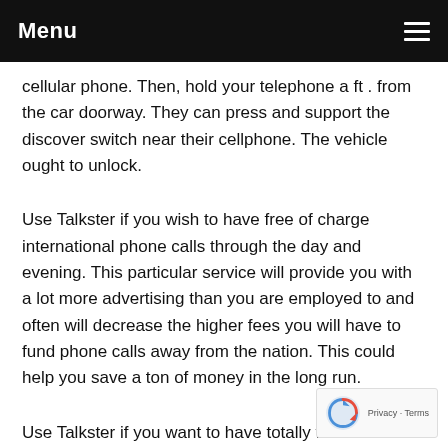Menu
cellular phone. Then, hold your telephone a ft . from the car doorway. They can press and support the discover switch near their cellphone. The vehicle ought to unlock.
Use Talkster if you wish to have free of charge international phone calls through the day and evening. This particular service will provide you with a lot more advertising than you are employed to and often will decrease the higher fees you will have to fund phone calls away from the nation. This could help you save a ton of money in the long run.
Use Talkster if you want to have totally free international phone calls during the day and night. This particular service will